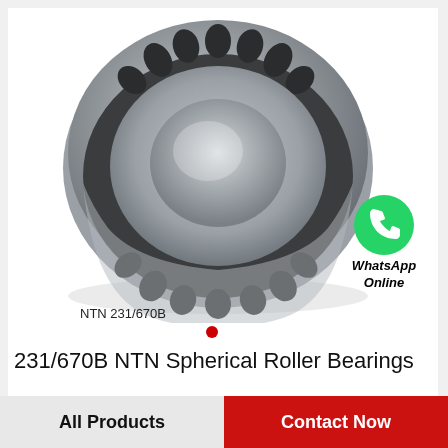[Figure (photo): NTN 231/670B spherical roller bearing — metallic grey double-row bearing with barrel-shaped rollers, shown in 3/4 perspective view. Label 'NTN 231/670B' below the bearing.]
[Figure (logo): WhatsApp green circular icon with phone handset, with text 'WhatsApp Online' below it in bold italic.]
231/670B NTN Spherical Roller Bearings
All Products
Contact Now